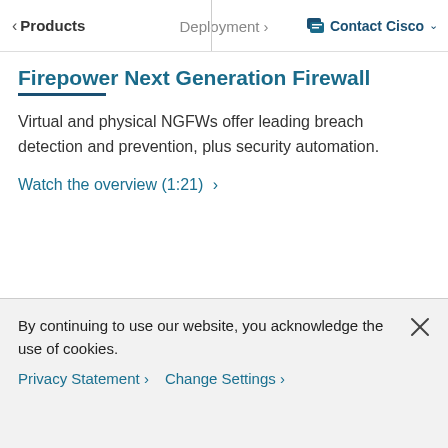< Products  Deployment >   Contact Cisco v
Firepower Next Generation Firewall
Virtual and physical NGFWs offer leading breach detection and prevention, plus security automation.
Watch the overview (1:21)  >
By continuing to use our website, you acknowledge the use of cookies.
Privacy Statement >   Change Settings >